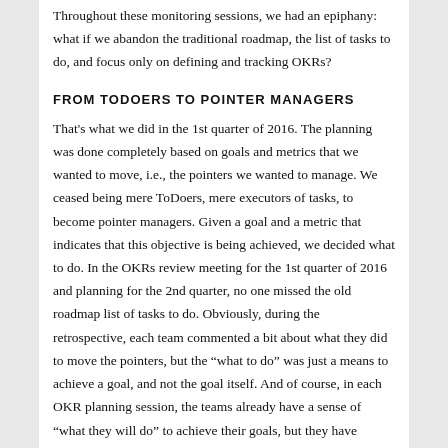Throughout these monitoring sessions, we had an epiphany: what if we abandon the traditional roadmap, the list of tasks to do, and focus only on defining and tracking OKRs?
FROM TODOERS TO POINTER MANAGERS
That's what we did in the 1st quarter of 2016. The planning was done completely based on goals and metrics that we wanted to move, i.e., the pointers we wanted to manage. We ceased being mere ToDoers, mere executors of tasks, to become pointer managers. Given a goal and a metric that indicates that this objective is being achieved, we decided what to do. In the OKRs review meeting for the 1st quarter of 2016 and planning for the 2nd quarter, no one missed the old roadmap list of tasks to do. Obviously, during the retrospective, each team commented a bit about what they did to move the pointers, but the “what to do” was just a means to achieve a goal, and not the goal itself. And of course, in each OKR planning session, the teams already have a sense of “what they will do” to achieve their goals, but they have